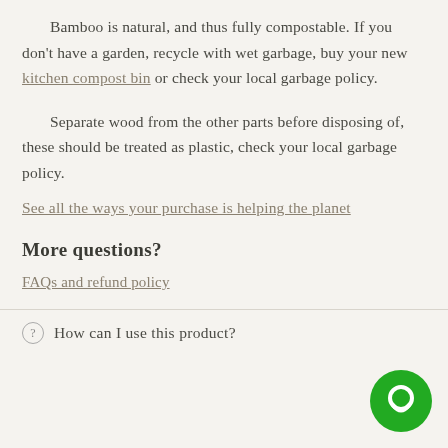Bamboo is natural, and thus fully compostable. If you don't have a garden, recycle with wet garbage, buy your new kitchen compost bin or check your local garbage policy.
Separate wood from the other parts before disposing of, these should be treated as plastic, check your local garbage policy.
See all the ways your purchase is helping the planet
More questions?
FAQs and refund policy
How can I use this product?
[Figure (other): Green circular chat bubble icon in bottom right corner]